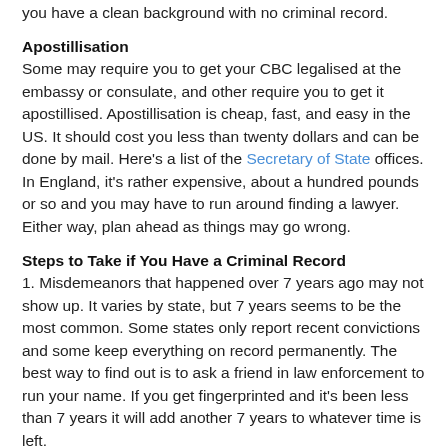you have a clean background with no criminal record.
Apostillisation
Some may require you to get your CBC legalised at the embassy or consulate, and other require you to get it apostillised. Apostillisation is cheap, fast, and easy in the US. It should cost you less than twenty dollars and can be done by mail. Here's a list of the Secretary of State offices. In England, it's rather expensive, about a hundred pounds or so and you may have to run around finding a lawyer. Either way, plan ahead as things may go wrong.
Steps to Take if You Have a Criminal Record
1. Misdemeanors that happened over 7 years ago may not show up. It varies by state, but 7 years seems to be the most common. Some states only report recent convictions and some keep everything on record permanently. The best way to find out is to ask a friend in law enforcement to run your name. If you get fingerprinted and it's been less than 7 years it will add another 7 years to whatever time is left.
2. See if you can get the record expunged. You will have to